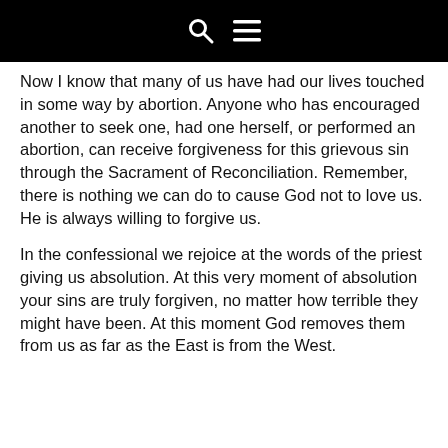Now I know that many of us have had our lives touched in some way by abortion. Anyone who has encouraged another to seek one, had one herself, or performed an abortion, can receive forgiveness for this grievous sin through the Sacrament of Reconciliation. Remember, there is nothing we can do to cause God not to love us. He is always willing to forgive us.
In the confessional we rejoice at the words of the priest giving us absolution. At this very moment of absolution your sins are truly forgiven, no matter how terrible they might have been. At this moment God removes them from us as far as the East is from the West.